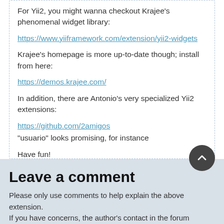For Yii2, you might wanna checkout Krajee's phenomenal widget library:
https://www.yiiframework.com/extension/yii2-widgets
Krajee's homepage is more up-to-date though; install from here:
https://demos.krajee.com/
In addition, there are Antonio's very specialized Yii2 extensions:
https://github.com/2amigos
"usuario" looks promising, for instance
Have fun!
Don Felipe at Apr 13, 2021, 11:28:35 AM
Leave a comment
Please only use comments to help explain the above extension.
If you have concerns, use the author's contact in the forum instead.